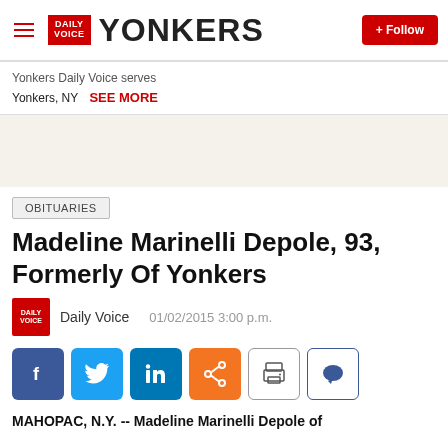YONKERS — Daily Voice
Yonkers Daily Voice serves Yonkers, NY  SEE MORE
[Figure (other): Advertisement placeholder area]
OBITUARIES
Madeline Marinelli Depole, 93, Formerly Of Yonkers
Daily Voice   01/02/2015 3:00 p.m.
[Figure (other): Social sharing buttons: Facebook, Twitter, LinkedIn, Share, Print, Comment]
MAHOPAC, N.Y. -- Madeline Marinelli Depole of